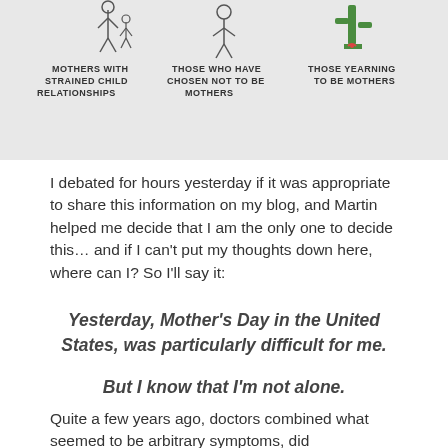[Figure (illustration): Hand-drawn illustration showing three figures with handwritten labels: 'MOTHERS WITH STRAINED CHILD RELATIONSHIPS', 'THOSE WHO HAVE CHOSEN NOT TO BE MOTHERS', and 'THOSE YEARNING TO BE MOTHERS']
I debated for hours yesterday if it was appropriate to share this information on my blog, and Martin helped me decide that I am the only one to decide this… and if I can't put my thoughts down here, where can I? So I'll say it:
Yesterday, Mother's Day in the United States, was particularly difficult for me.
But I know that I'm not alone.
Quite a few years ago, doctors combined what seemed to be arbitrary symptoms, did ultrasounds, and finally had answers that concluded that I have